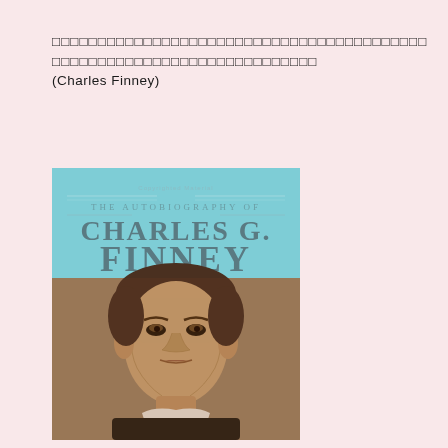□□□□□□□□□□□□□□□□□□□□□□□□□□□□□□□□□□□□□□□□□□□□□□□□□□□□□□□□□□□□□□□□□□□□□□ (Charles Finney)
[Figure (illustration): Book cover of 'The Autobiography of Charles G. Finney' showing the title in large serif letters on a light blue background, with a historical black-and-white portrait photograph of Charles Finney below — a gaunt middle-aged man in 19th century attire.]